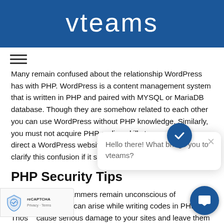vteams
[Figure (logo): vteams logo in white text on dark blue background]
Many remain confused about the relationship WordPress has with PHP. WordPress is a content management system that is written in PHP and paired with MYSQL or MariaDB database. Though they are somehow related to each other you can use WordPress without PHP knowledge. Similarly, you must not acquire PHP coding skills to, practice, run, or direct a WordPress website. We felt it was important to clarify this confusion if it s
PHP Security Tips
he benefits, programmers remain unconscious of vulnerabilities that can arise while writing codes in PHP. Those cause serious damage to your sites and leave them susceptible to hacking attempts. If you use the PHP Security Tips discussed in
[Figure (screenshot): Chat popup overlay showing vteams chatbot with message 'Hello there! What brings you to vteams?' and a close button]
[Figure (logo): Google reCAPTCHA badge with Privacy and Terms links]